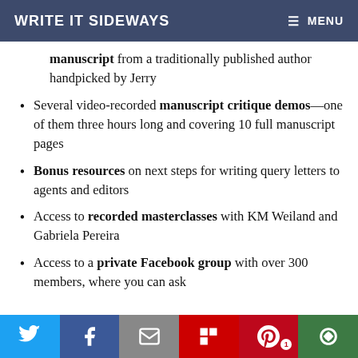WRITE IT SIDEWAYS   ≡ MENU
manuscript from a traditionally published author handpicked by Jerry
Several video-recorded manuscript critique demos—one of them three hours long and covering 10 full manuscript pages
Bonus resources on next steps for writing query letters to agents and editors
Access to recorded masterclasses with KM Weiland and Gabriela Pereira
Access to a private Facebook group with over 300 members, where you can ask